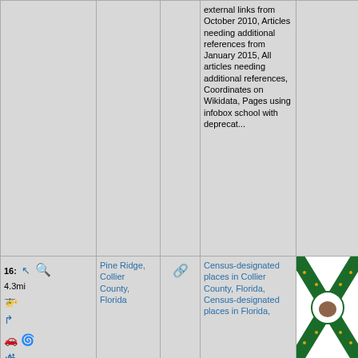|  |  |  | external links from October 2010, Articles needing additional references from January 2015, All articles needing additional references, Coordinates on Wikidata, Pages using infobox school with deprecat... |  |
| 16: 4.3mi [icons] | Pine Ridge, Collier County, Florida | [link icon] | Census-designated places in Collier County, Florida, Census-designated places in Florida, | [Florida flag image] |